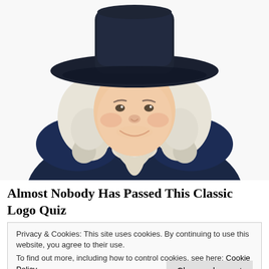[Figure (illustration): Illustrated portrait of the Quaker Oats man mascot — a smiling colonial-era gentleman with white curly wig, dark wide-brimmed hat, dark navy jacket, and white cravat/neckerchief, shown from the chest up against a white background.]
Almost Nobody Has Passed This Classic Logo Quiz
Privacy & Cookies: This site uses cookies. By continuing to use this website, you agree to their use.
To find out more, including how to control cookies, see here: Cookie Policy
Close and accept